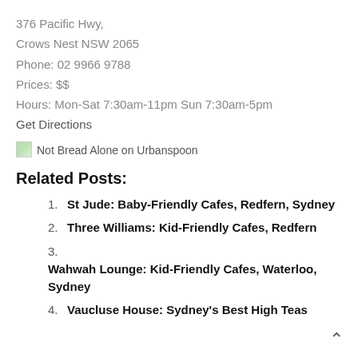376 Pacific Hwy,
Crows Nest NSW 2065
Phone: 02 9966 9788
Prices: $$
Hours: Mon-Sat 7:30am-11pm Sun 7:30am-5pm
Get Directions
[Figure (other): Not Bread Alone on Urbanspoon badge/image with alt text]
Related Posts:
St Jude: Baby-Friendly Cafes, Redfern, Sydney
Three Williams: Kid-Friendly Cafes, Redfern
Wahwah Lounge: Kid-Friendly Cafes, Waterloo, Sydney
Vaucluse House: Sydney's Best High Teas